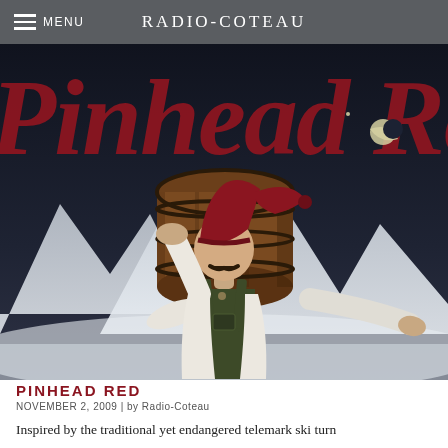MENU   RADIO-COTEAU
[Figure (illustration): Wine label illustration for 'Pinhead Red' by Radio-Coteau. Large red cursive text 'Pinhead Rea' across the top on a dark navy background with snow-capped mountains. Center foreground shows a mustachioed man in overalls and a red stocking cap carrying a large wooden barrel on his shoulder, one arm outstretched. A crescent moon is visible upper right.]
PINHEAD RED
NOVEMBER 2, 2009 | by Radio-Coteau
Inspired by the traditional yet endangered telemark ski turn